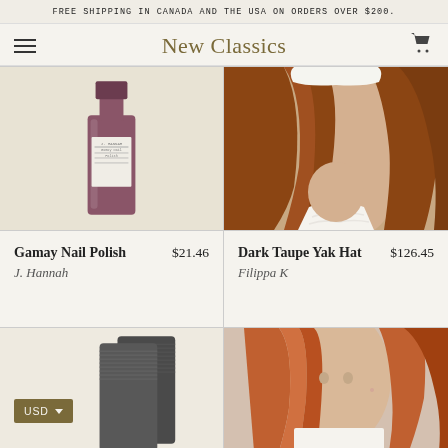FREE SHIPPING IN CANADA AND THE USA ON ORDERS OVER $200.
New Classics
[Figure (photo): Close-up of a dark mauve/gamay nail polish bottle against a beige background]
[Figure (photo): Close-up of a woman wearing a white fluffy/textured hat, showing auburn hair and neck]
Gamay Nail Polish   $21.46
J. Hannah
Dark Taupe Yak Hat   $126.45
Filippa K
[Figure (photo): Dark grey/charcoal ribbed socks folded on a beige background, with a USD currency selector button]
[Figure (photo): Woman with auburn/copper hair wearing a white top, photographed from the shoulders up]